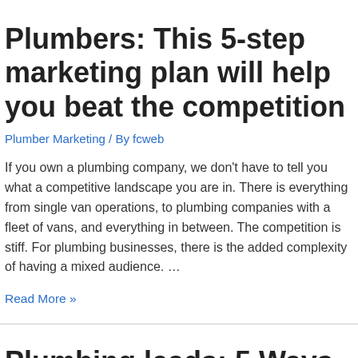Plumbers: This 5-step marketing plan will help you beat the competition
Plumber Marketing / By fcweb
If you own a plumbing company, we don't have to tell you what a competitive landscape you are in. There is everything from single van operations, to plumbing companies with a fleet of vans, and everything in between. The competition is stiff. For plumbing businesses, there is the added complexity of having a mixed audience. …
Read More »
Plumbing leads: 5 Ways to get